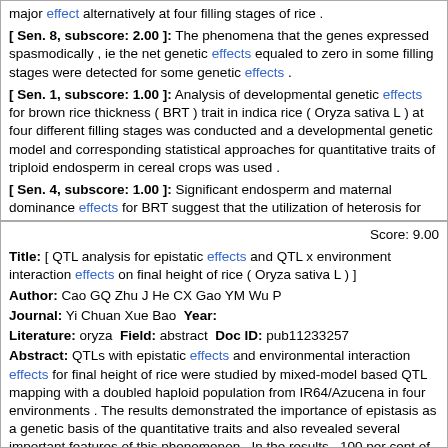major effect alternatively at four filling stages of rice . [ Sen. 8, subscore: 2.00 ]: The phenomena that the genes expressed spasmodically , ie the net genetic effects equaled to zero in some filling stages were detected for some genetic effects . [ Sen. 1, subscore: 1.00 ]: Analysis of developmental genetic effects for brown rice thickness ( BRT ) trait in indica rice ( Oryza sativa L ) at four different filling stages was conducted and a developmental genetic model and corresponding statistical approaches for quantitative traits of triploid endosperm in cereal crops was used . [ Sen. 4, subscore: 1.00 ]: Significant endosperm and maternal dominance effects for BRT suggest that the utilization of heterosis for BRT is viable .
Score: 9.00
Title: [ QTL analysis for epistatic effects and QTL x environment interaction effects on final height of rice ( Oryza sativa L ) ]
Author: Cao GQ Zhu J He CX Gao YM Wu P
Journal: Yi Chuan Xue Bao Year:
Literature: oryza Field: abstract Doc ID: pub11233257
Abstract: QTLs with epistatic effects and environmental interaction effects for final height of rice were studied by mixed-model based QTL mapping with a doubled haploid population from IR64/Azucena in four environments . The results demonstrated the importance of epistasis as a genetic basis of the quantitative traits and also revealed several important features of this phenomenon . In the results , 100 per cent of QTLs were involved in epistasis , of which 64 per cent were found with significant additive effects . This might mean that the usual estimates of the QTL additive effects could be confounded by epistatic interactions and result in biased estimation unless epistatic effect is separated . The